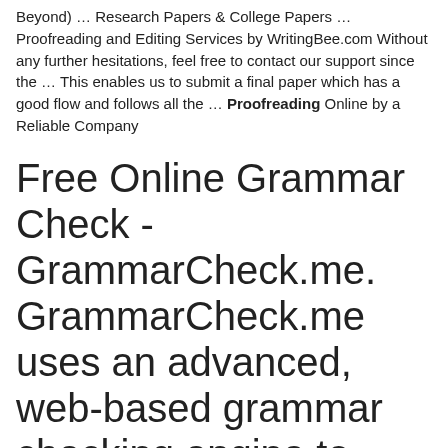Beyond) … Research Papers & College Papers … Proofreading and Editing Services by WritingBee.com Without any further hesitations, feel free to contact our support since the … This enables us to submit a final paper which has a good flow and follows all the … Proofreading Online by a Reliable Company
Free Online Grammar Check - GrammarCheck.me. GrammarCheck.me uses an advanced, web-based grammar checking engine to power its free online spelling & grammar